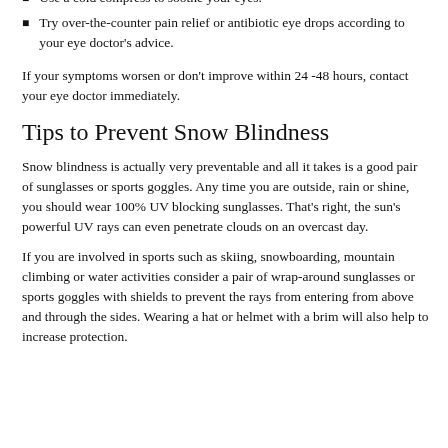Apply preservative-free artificial tears to add moisture.
Use a cold compress to soothe your eyes.
Try over-the-counter pain relief or antibiotic eye drops according to your eye doctor's advice.
If your symptoms worsen or don't improve within 24 -48 hours, contact your eye doctor immediately.
Tips to Prevent Snow Blindness
Snow blindness is actually very preventable and all it takes is a good pair of sunglasses or sports goggles. Any time you are outside, rain or shine, you should wear 100% UV blocking sunglasses. That's right, the sun's powerful UV rays can even penetrate clouds on an overcast day.
If you are involved in sports such as skiing, snowboarding, mountain climbing or water activities consider a pair of wrap-around sunglasses or sports goggles with shields to prevent the rays from entering from above and through the sides. Wearing a hat or helmet with a brim will also help to increase protection.